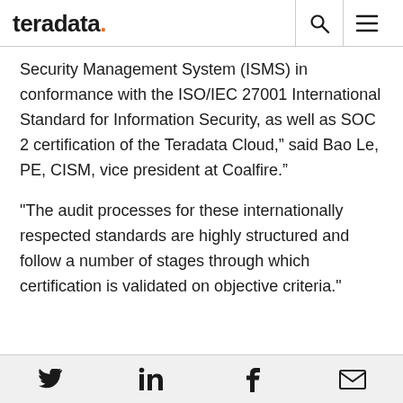teradata.
Security Management System (ISMS) in conformance with the ISO/IEC 27001 International Standard for Information Security, as well as SOC 2 certification of the Teradata Cloud,” said Bao Le, PE, CISM, vice president at Coalfire.”
"The audit processes for these internationally respected standards are highly structured and follow a number of stages through which certification is validated on objective criteria."
Social media share icons: Twitter, LinkedIn, Facebook, Email